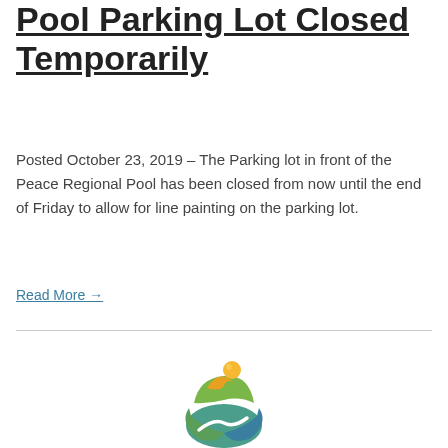Pool Parking Lot Closed Temporarily
Posted October 23, 2019 – The Parking lot in front of the Peace Regional Pool has been closed from now until the end of Friday to allow for line painting on the parking lot.
Read More →
[Figure (logo): Colorful organization logo showing stylized human figure above a winding river/path, with green, teal, blue, orange and yellow colors]